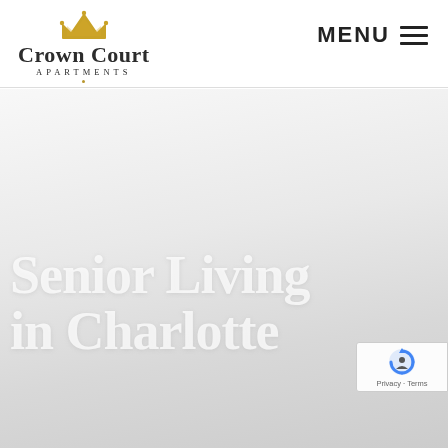[Figure (logo): Crown Court Apartments logo with golden crown icon above the text 'Crown Court Apartments']
MENU ≡
[Figure (photo): Hero background — light grey gradient background suggesting an exterior photo, heavily washed out/faded to near white]
Senior Living
in Charlotte
[Figure (other): Google reCAPTCHA badge overlay with shield icon and Privacy · Terms links]